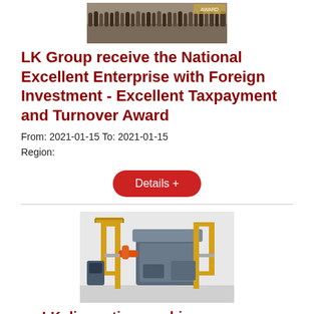[Figure (photo): Group photo of many people standing on a stage, with award ceremony logos visible]
LK Group receive the National Excellent Enterprise with Foreign Investment - Excellent Taxpayment and Turnover Award
From: 2021-01-15 To: 2021-01-15
Region:
Details +
[Figure (photo): Industrial die casting machine with yellow frame structures, robotic arm, and large machine body in a 3D rendered illustration]
LK die casting machines are included in the 5th list of award-winning products in China